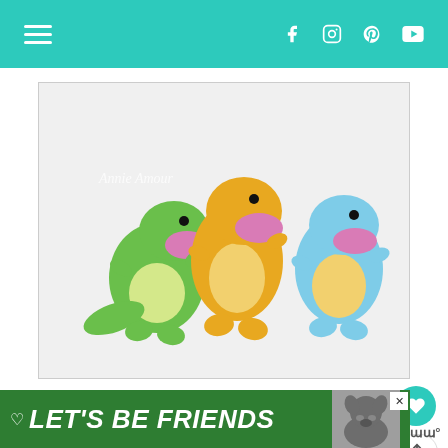Navigation bar with hamburger menu and social icons (Facebook, Instagram, Pinterest, YouTube)
[Figure (photo): Three crocheted amigurumi dinosaurs: green T-Rex on left, yellow dinosaur in middle, blue dinosaur on right, all with open mouths and cream-colored bellies. Watermark reads 'Annie Amour'.]
This free Dinosaur crochet pattern is the first in my series of
[Figure (infographic): Green ad banner reading LET'S BE FRIENDS with a husky dog photo and heart icon, with close button.]